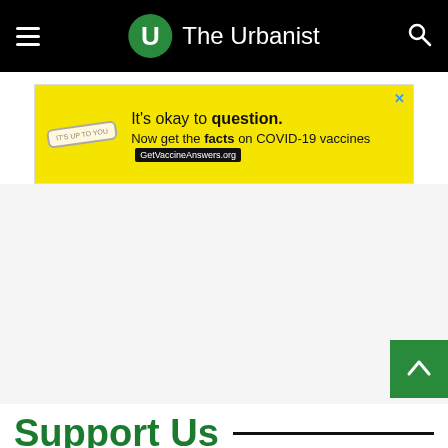The Urbanist
[Figure (infographic): Yellow advertisement banner: 'It's okay to question. Now get the facts on COVID-19 vaccines. GetVaccineAnswers.org']
Support Us
[Figure (infographic): Bottom advertisement strip with in-store shopping, curbside pickup, and delivery features]